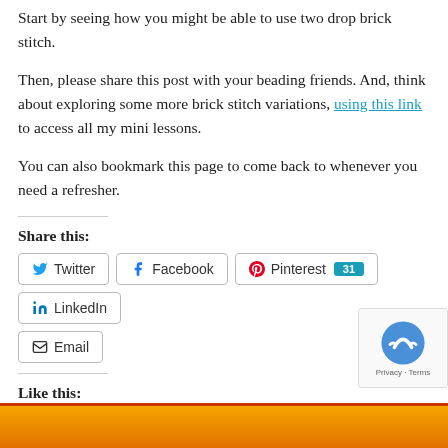Start by seeing how you might be able to use two drop brick stitch.
Then, please share this post with your beading friends. And, think about exploring some more brick stitch variations, using this link to access all my mini lessons.
You can also bookmark this page to come back to whenever you need a refresher.
Share this:
[Figure (other): Social sharing buttons: Twitter, Facebook, Pinterest (31), LinkedIn, Email]
Like this:
Loading...
[Figure (other): reCAPTCHA badge with Privacy and Terms links]
[Figure (other): Orange/red bottom banner bar]